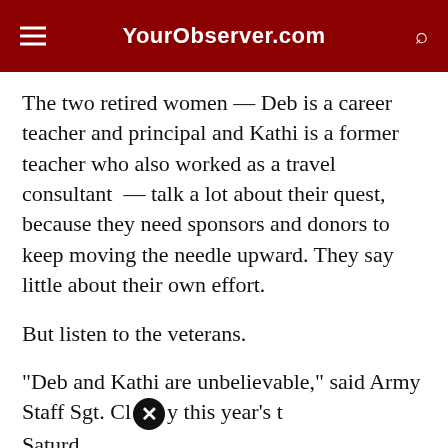YourObserver.com
The two retired women — Deb is a career teacher and principal and Kathi is a former teacher who also worked as a travel consultant  — talk a lot about their quest, because they need sponsors and donors to keep moving the needle upward. They say little about their own effort.
But listen to the veterans.
"Deb and Kathi are unbelievable," said Army Staff Sgt. Cl [close button] y this year's t Saturd